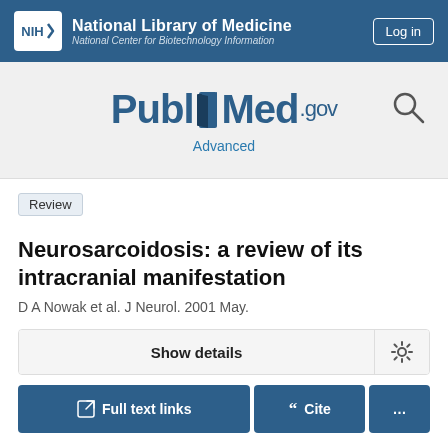NIH National Library of Medicine National Center for Biotechnology Information
[Figure (logo): PubMed.gov logo with book icon and search magnifying glass icon, Advanced link below]
Review
Neurosarcoidosis: a review of its intracranial manifestation
D A Nowak et al. J Neurol. 2001 May.
Show details
Full text links  Cite  ...